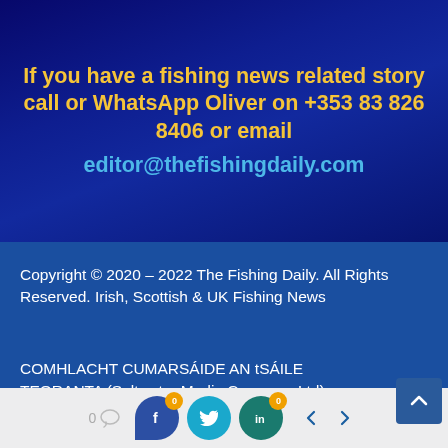If you have a fishing news related story call or WhatsApp Oliver on +353 83 826 8406 or email editor@thefishingdaily.com
Copyright © 2020 – 2022 The Fishing Daily. All Rights Reserved. Irish, Scottish & UK Fishing News
COMHLACHT CUMARSÁIDE AN tSÁILE TEORANTA (Saltwater Media Company Ltd) Registered Office: No. 1 Áras Ros Goill, Na Dúnaibh, Ros Goill, Co. Donegal, Ireland. F92
[Figure (infographic): Bottom social sharing bar with comment count (0), Facebook share button with badge (0), Twitter share button, LinkedIn share button with badge (0), and left/right navigation arrows]